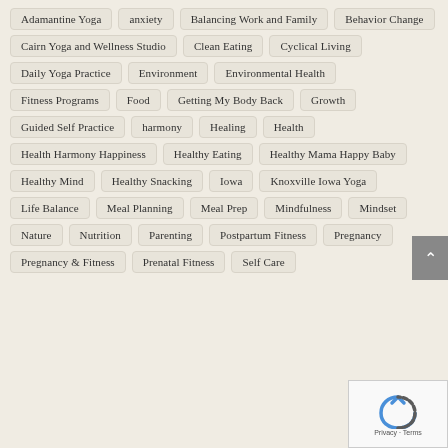Adamantine Yoga, anxiety, Balancing Work and Family, Behavior Change, Cairn Yoga and Wellness Studio, Clean Eating, Cyclical Living, Daily Yoga Practice, Environment, Environmental Health, Fitness Programs, Food, Getting My Body Back, Growth, Guided Self Practice, harmony, Healing, Health, Health Harmony Happiness, Healthy Eating, Healthy Mama Happy Baby, Healthy Mind, Healthy Snacking, Iowa, Knoxville Iowa Yoga, Life Balance, Meal Planning, Meal Prep, Mindfulness, Mindset, Nature, Nutrition, Parenting, Postpartum Fitness, Pregnancy, Pregnancy & Fitness, Prenatal Fitness, Self Care